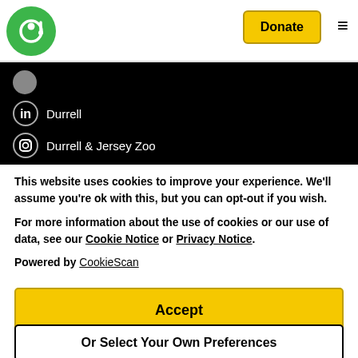[Figure (logo): Durrell Wildlife Conservation Trust green circular logo with music note symbol]
Donate
Durrell
Durrell & Jersey Zoo
This website uses cookies to improve your experience. We'll assume you're ok with this, but you can opt-out if you wish.
For more information about the use of cookies or our use of data, see our Cookie Notice or Privacy Notice.
Powered by CookieScan
Accept
Or Select Your Own Preferences